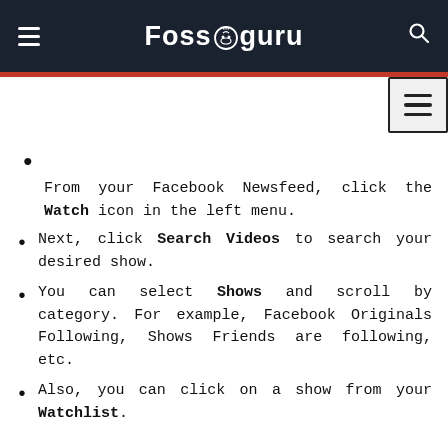Fossguru
From your Facebook Newsfeed, click the Watch icon in the left menu.
Next, click Search Videos to search your desired show.
You can select Shows and scroll by category. For example, Facebook Originals Following, Shows Friends are following, etc.
Also, you can click on a show from your Watchlist.